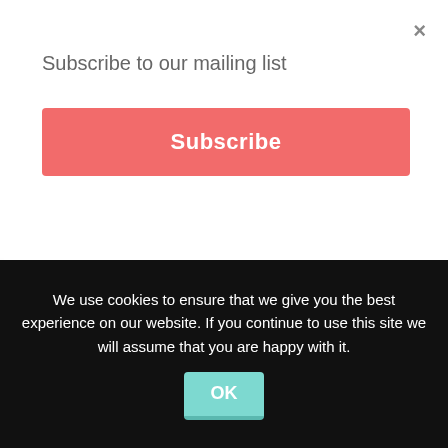Subscribe to our mailing list
Subscribe
towards success in their teams, projects and personal lives. His most recent project, The Lazy Guru's Guide to Life – the world's first cartoon guide to mindfulness – is a new approach to problem solving which answers the question: how do good things really happen?
We use cookies to ensure that we give you the best experience on our website. If you continue to use this site we will assume that you are happy with it.
OK